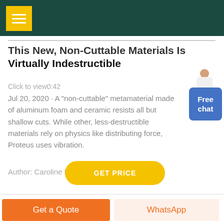This New, Non-Cuttable Materials Is Virtually Indestructible
Click to view0:42
Jul 20, 2020 · A "non-cuttable" metamaterial made of aluminum foam and ceramic resists all but shallow cuts. While other, less-destructible materials rely on physics like distributing force, Proteus uses vibration.
Author: Caroline Delbert
Get a Quote | WhatsApp